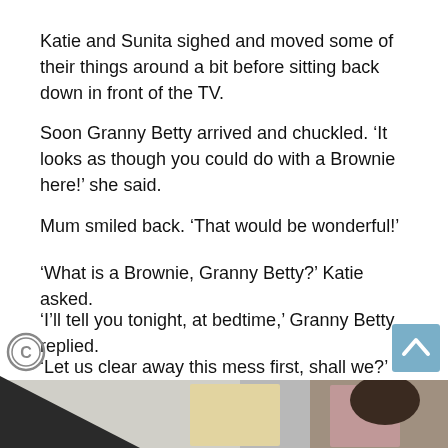Katie and Sunita sighed and moved some of their things around a bit before sitting back down in front of the TV.
Soon Granny Betty arrived and chuckled. ‘It looks as though you could do with a Brownie here!’ she said.
Mum smiled back. ‘That would be wonderful!’
‘What is a Brownie, Granny Betty?’ Katie asked.
‘I’ll tell you tonight, at bedtime,’ Granny Betty replied.
‘Let us clear away this mess first, shall we?’
When it was time for bed, Katie reminded Granny Betty about her promise to tell them about Brownies. When she had made herself comfortable on the end of Katie’s bed, Granny Betty began telling them a strange, xciting and mysterious tale.
[Figure (photo): Photo strip at bottom of page showing people, partially obscured. Dark triangular overlay in bottom-left corner with a copyright icon. Blue scroll-to-top button in bottom-right.]